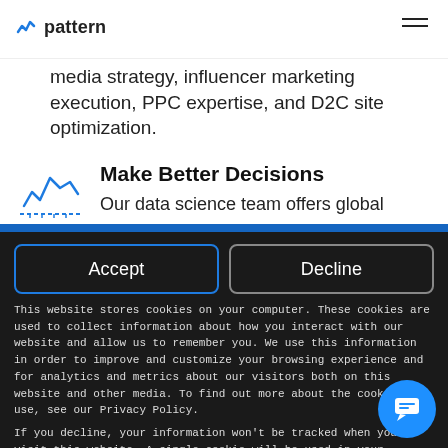pattern
media strategy, influencer marketing execution, PPC expertise, and D2C site optimization.
[Figure (illustration): Blue line chart icon with jagged wave line and dashed baseline]
Make Better Decisions
Our data science team offers global
Accept
Decline
This website stores cookies on your computer. These cookies are used to collect information about how you interact with our website and allow us to remember you. We use this information in order to improve and customize your browsing experience and for analytics and metrics about our visitors both on this website and other media. To find out more about the cookies we use, see our Privacy Policy.
If you decline, your information won't be tracked when you visit this website. A single cookie will be used in your browser to remember your preference not to be tracked.